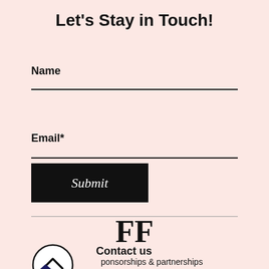Let's Stay in Touch!
Name
Email*
Submit
[Figure (logo): FF logo text in bold serif font]
Contact us
Sponsorships & partnerships
[Figure (illustration): Circle with upward chevron arrow icon]
[Figure (illustration): Dark blue diamond/arrow icon]